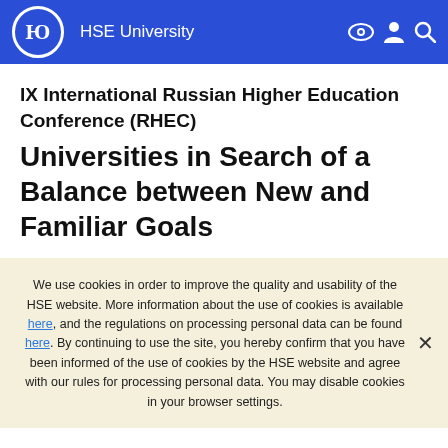HSE University
IX International Russian Higher Education Conference (RHEC)
Universities in Search of a Balance between New and Familiar Goals
We use cookies in order to improve the quality and usability of the HSE website. More information about the use of cookies is available here, and the regulations on processing personal data can be found here. By continuing to use the site, you hereby confirm that you have been informed of the use of cookies by the HSE website and agree with our rules for processing personal data. You may disable cookies in your browser settings.